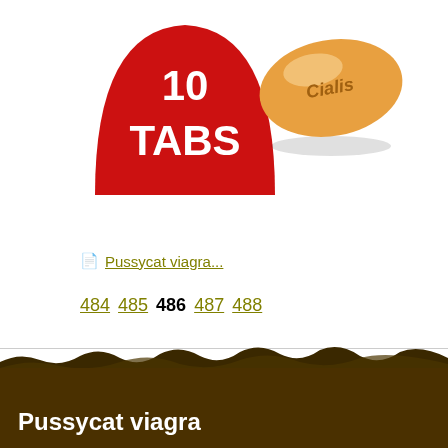[Figure (illustration): Red semicircle badge with white text '10 TABS']
[Figure (photo): Orange oval Cialis pill with 'Cialis' text embossed]
Pussycat viagra...
484 485 486 487 488
Pussycat viagra:
Pussycat viagra...
Pussycat viagra